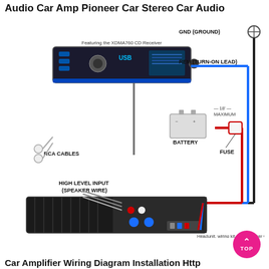Audio Car Amp Pioneer Car Stereo Car Audio
[Figure (schematic): Car amplifier wiring diagram featuring the XDMA760 CD Receiver. Shows a Pioneer car stereo head unit connected via RCA cables and high level input (speaker wire) to a car amplifier. The diagram shows battery connection with 18' maximum fuse inline on red power wire, blue REM (turn-on lead) wire, and black GND (ground) wire connected to the amplifier. Labels include: Featuring the XDMA760 CD Receiver, GND (GROUND), REM (TURN-ON LEAD), BATTERY, 18' MAXIMUM, FUSE, RCA CABLES, HIGH LEVEL INPUT (SPEAKER WIRE). Bottom text: Headunit, wiring kit, and speaker wire sol...]
Headunit, wiring kit, and speaker wire sol
Car Amplifier Wiring Diagram Installation Http